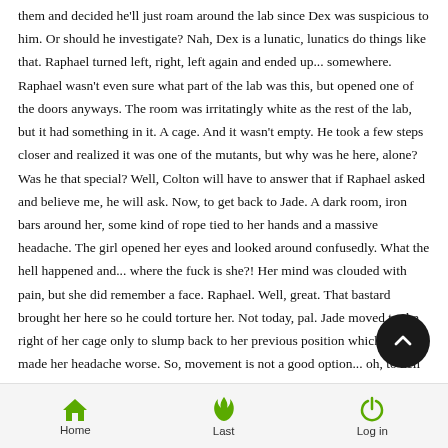them and decided he'll just roam around the lab since Dex was suspicious to him. Or should he investigate? Nah, Dex is a lunatic, lunatics do things like that. Raphael turned left, right, left again and ended up... somewhere. Raphael wasn't even sure what part of the lab was this, but opened one of the doors anyways. The room was irritatingly white as the rest of the lab, but it had something in it. A cage. And it wasn't empty. He took a few steps closer and realized it was one of the mutants, but why was he here, alone? Was he that special? Well, Colton will have to answer that if Raphael asked and believe me, he will ask. Now, to get back to Jade. A dark room, iron bars around her, some kind of rope tied to her hands and a massive headache. The girl opened her eyes and looked around confusedly. What the hell happened and... where the fuck is she?! Her mind was clouded with pain, but she did remember a face. Raphael. Well, great. That bastard brought her here so he could torture her. Not today, pal. Jade moved to the right of her cage only to slump back to her previous position which just made her headache worse. So, movement is not a good option... oh, to hell with that. The rope around her hands was ripped in a second and the bars were in two more, but the best she could do was to crawl out of the cage. "Oh, find you..." she muttered, holding her head. The pain was really obnoxious, but
Home   Last   Log in